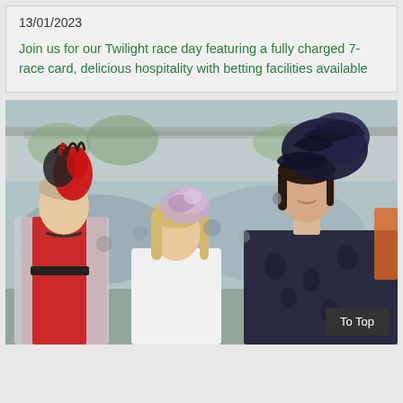13/01/2023
Join us for our Twilight race day featuring a fully charged 7-race card, delicious hospitality with betting facilities available
[Figure (photo): Three elegantly dressed women at a horse racing event. The woman on the right wears a dark navy floral dress and a large dark navy fascinator hat. The woman in the middle wears a white blazer with a light purple/lavender flower fascinator. The woman on the left wears a red outfit with a bold red and black feathered headpiece. A crowd and a racecourse grandstand structure are visible in the background.]
To Top